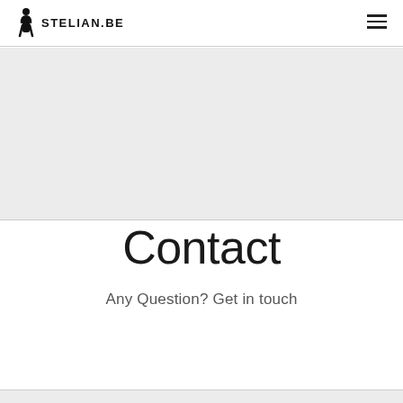STELIAN.BE
[Figure (other): Grey banner/hero image area, empty light grey rectangle]
Contact
Any Question? Get in touch